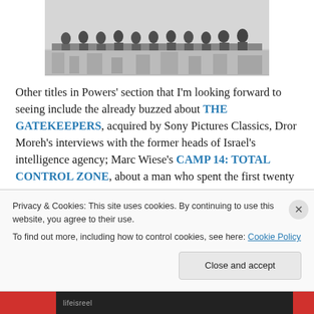[Figure (photo): Black and white photograph of workers sitting on a steel beam high above a city, the famous 'Lunch atop a Skyscraper' style image showing approximately 11 workers in work clothes and caps seated along a girder.]
Other titles in Powers' section that I'm looking forward to seeing include the already buzzed about THE GATEKEEPERS, acquired by Sony Pictures Classics, Dror Moreh's interviews with the former heads of Israel's intelligence agency; Marc Wiese's CAMP 14: TOTAL CONTROL ZONE, about a man who spent the first twenty
Privacy & Cookies: This site uses cookies. By continuing to use this website, you agree to their use.
To find out more, including how to control cookies, see here: Cookie Policy
Close and accept